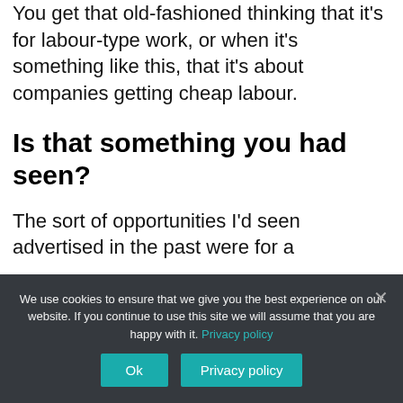You get that old-fashioned thinking that it's for labour-type work, or when it's something like this, that it's about companies getting cheap labour.
Is that something you had seen?
The sort of opportunities I'd seen advertised in the past were for a
We use cookies to ensure that we give you the best experience on our website. If you continue to use this site we will assume that you are happy with it. Privacy policy
Ok
Privacy policy